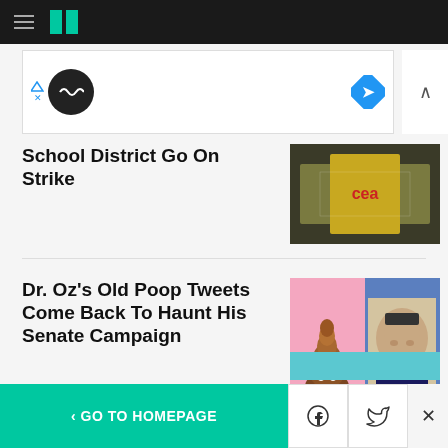HuffPost navigation header
[Figure (screenshot): Advertisement banner with black circle logo and blue diamond icon]
School District Go On Strike
[Figure (photo): Person holding CEQ sign at event]
Dr. Oz's Old Poop Tweets Come Back To Haunt His Senate Campaign
[Figure (photo): Split image: poop emoji on pink background and Dr. Oz portrait]
< GO TO HOMEPAGE